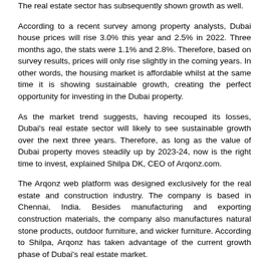The real estate sector has subsequently shown growth as well.
According to a recent survey among property analysts, Dubai house prices will rise 3.0% this year and 2.5% in 2022. Three months ago, the stats were 1.1% and 2.8%. Therefore, based on survey results, prices will only rise slightly in the coming years. In other words, the housing market is affordable whilst at the same time it is showing sustainable growth, creating the perfect opportunity for investing in the Dubai property.
As the market trend suggests, having recouped its losses, Dubai's real estate sector will likely to see sustainable growth over the next three years. Therefore, as long as the value of Dubai property moves steadily up by 2023-24, now is the right time to invest, explained Shilpa DK, CEO of Arqonz.com.
The Arqonz web platform was designed exclusively for the real estate and construction industry. The company is based in Chennai, India. Besides manufacturing and exporting construction materials, the company also manufactures natural stone products, outdoor furniture, and wicker furniture. According to Shilpa, Arqonz has taken advantage of the current growth phase of Dubai's real estate market.